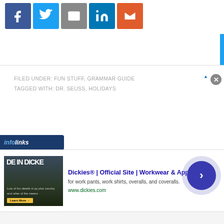[Figure (other): Social sharing icons row: Facebook (blue), Twitter (light blue), Email (gray), LinkedIn (dark blue), Mightybell/other (orange-red)]
FILED UNDER: FUN STUFF, GRAMMAR GUIDE
TAGGED WITH: DR. SEUSS, HOLIDAYS
[Figure (other): Infolinks logo bar - dark blue background with 'infolinks' text in white italic]
[Figure (other): Advertisement banner for Dickies - Official Site - Workwear & Apparel. Shows product image on left, ad text: 'Dickies® | Official Site | Workwear & Apparel', 'for work pants, work shirts, overalls, and coveralls.', 'www.dickies.com'. Navigation arrow circle on right.]